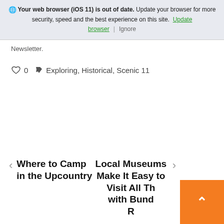Your web browser (iOS 11) is out of date. Update your browser for more security, speed and the best experience on this site. Update browser | Ignore
Newsletter.
0  Exploring, Historical, Scenic 11
Where to Camp in the Upcountry
Local Museums Make It Easy to Visit All Th... with Bund... R...